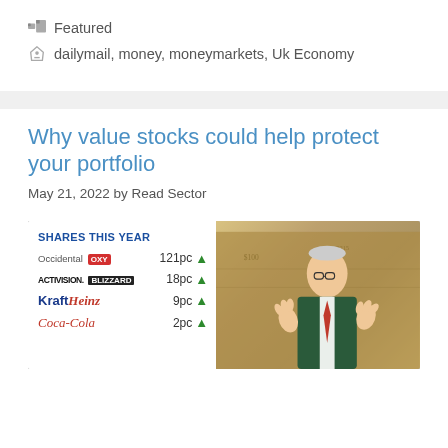Featured
dailymail, money, moneymarkets, Uk Economy
Why value stocks could help protect your portfolio
May 21, 2022 by Read Sector
[Figure (infographic): Infographic showing 'SHARES THIS YEAR' with Berkshire Hathaway portfolio stocks: Occidental OXY 121pc up, Activision Blizzard 18pc up, Kraft Heinz 9pc up, Coca-Cola 2pc up, alongside a photo of Warren Buffett with dollar bills in background.]